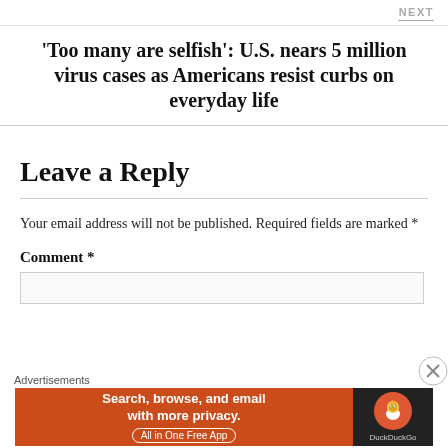NEXT
'Too many are selfish': U.S. nears 5 million virus cases as Americans resist curbs on everyday life
Leave a Reply
Your email address will not be published. Required fields are marked *
Comment *
[Figure (screenshot): DuckDuckGo advertisement banner: orange background with text 'Search, browse, and email with more privacy. All in One Free App' and DuckDuckGo logo on dark background]